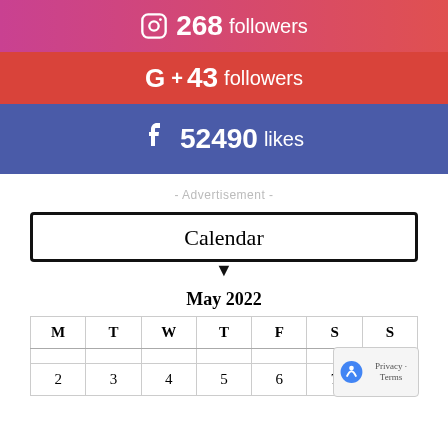268 followers (Instagram)
G+ 43 followers
52490 likes (Facebook)
- Advertisement -
Calendar
May 2022
| M | T | W | T | F | S | S |
| --- | --- | --- | --- | --- | --- | --- |
|  |  |  |  |  |  |  |
| 2 | 3 | 4 | 5 | 6 | 7 | 8 |